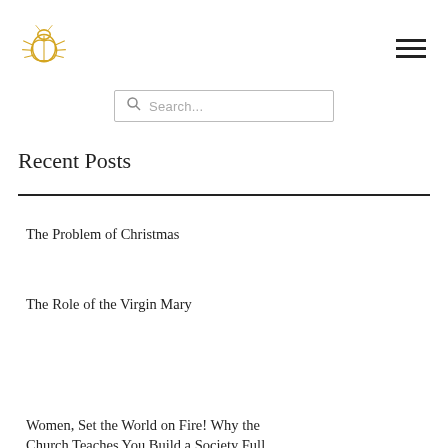[Figure (logo): Golden scarab beetle logo icon]
Search...
Recent Posts
The Problem of Christmas
The Role of the Virgin Mary
Women, Set the World on Fire! Why the Church Teaches You Build a Society Full